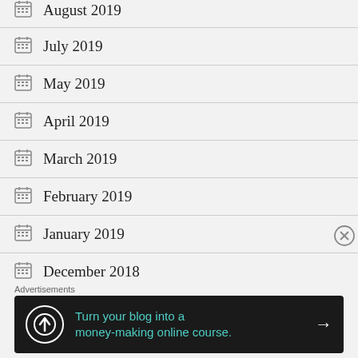August 2019
July 2019
May 2019
April 2019
March 2019
February 2019
January 2019
December 2018
Advertisements
[Figure (screenshot): Advertisement banner: dark background with teal text 'Turn your blog into a money-making online course.' with white arrow and circular logo icon.]